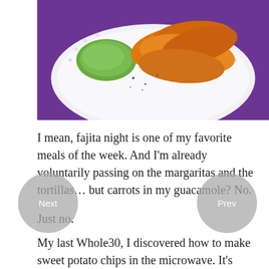[Figure (photo): Food photo showing orange sweet potato chips on a white plate with guacamole, on a purple cloth background]
I mean, fajita night is one of my favorite meals of the week. And I'm already voluntarily passing on the margaritas and the tortillas… but carrots in my guacamole? No.
Just no.
My last Whole30, I discovered how to make sweet potato chips in the microwave. It's easy and the chips are crispy and delicious. And honestly? It really saves fajita night.